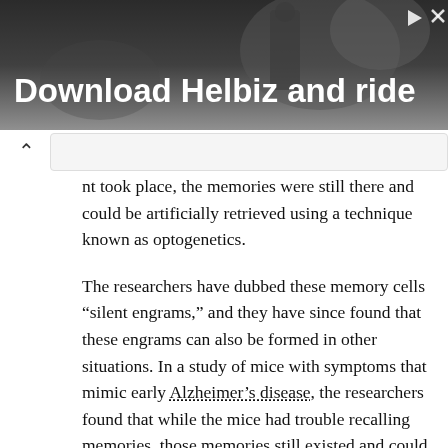[Figure (photo): Advertisement banner with blurred outdoor/street photo background and text 'Download Helbiz and ride' in white bold font. Close (X) and play button icons in top right corner.]
nt took place, the memories were still there and could be artificially retrieved using a technique known as optogenetics.
The researchers have dubbed these memory cells “silent engrams,” and they have since found that these engrams can also be formed in other situations. In a study of mice with symptoms that mimic early Alzheimer’s disease, the researchers found that while the mice had trouble recalling memories, those memories still existed and could be optogenetically retrieved.
In a more recent study of a process called systems consolidation of memory, the researchers found engrams in the hippocampus and the prefrontal cortex